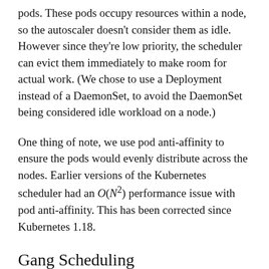pods. These pods occupy resources within a node, so the autoscaler doesn't consider them as idle. However since they're low priority, the scheduler can evict them immediately to make room for actual work. (We chose to use a Deployment instead of a DaemonSet, to avoid the DaemonSet being considered idle workload on a node.)
One thing of note, we use pod anti-affinity to ensure the pods would evenly distribute across the nodes. Earlier versions of the Kubernetes scheduler had an O(N²) performance issue with pod anti-affinity. This has been corrected since Kubernetes 1.18.
Gang Scheduling
Our experiments often involve one or more StatefulSets and sometimes different portions of th...